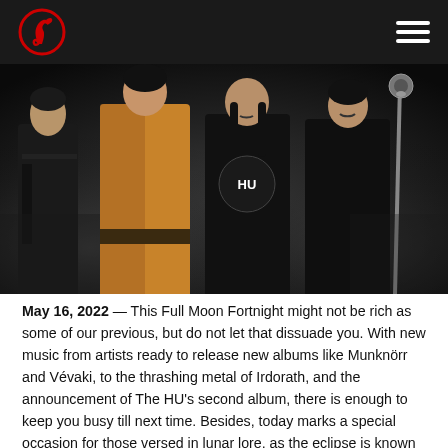Navigation header with logo and hamburger menu
[Figure (photo): Four members of The HU band posed in dark leather and traditional Mongolian-influenced outfits against a smoky dark background. From left to right: a man in black leather, a man in a brown/gold jacket, a man in a black HU t-shirt, and a man in black leather holding an ornate staff/instrument.]
May 16, 2022 — This Full Moon Fortnight might not be rich as some of our previous, but do not let that dissuade you. With new music from artists ready to release new albums like Munknörr and Vévaki, to the thrashing metal of Irdorath, and the announcement of The HU's second album, there is enough to keep you busy till next time. Besides, today marks a special occasion for those versed in lunar lore, as the eclipse is known as the (super flower) blood moon because of its spectacular, reddish appearance.